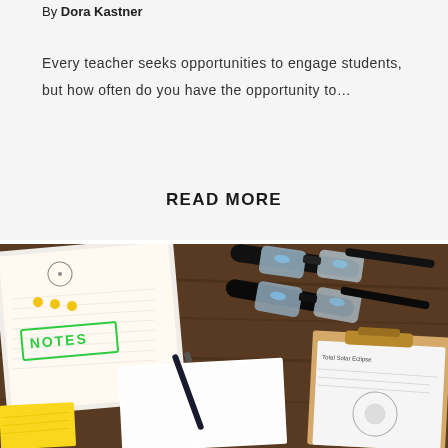By Dora Kastner
Every teacher seeks opportunities to engage students, but how often do you have the opportunity to...
READ MORE
[Figure (photo): Flat lay photo on a dark wooden surface showing eclipse glasses (two pairs of black-framed solar viewing glasses), an open notebook with handwritten notes and diagrams, a clipboard with a paper titled 'Total Solar Eclipse', a white blank notepad, a pen, and a yellow notepad in the corner.]